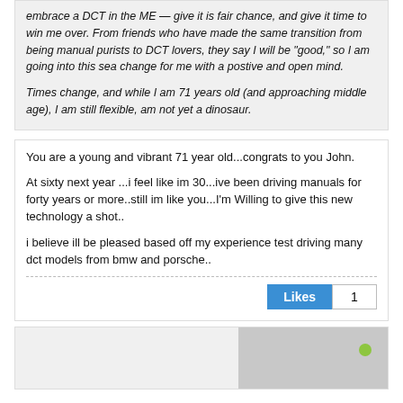embrace a DCT in the ME — give it is fair chance, and give it time to win me over. From friends who have made the same transition from being manual purists to DCT lovers, they say I will be "good," so I am going into this sea change for me with a postive and open mind.
Times change, and while I am 71 years old (and approaching middle age), I am still flexible, am not yet a dinosaur.
You are a young and vibrant 71 year old...congrats to you John.
At sixty next year ...i feel like im 30...ive been driving manuals for forty years or more..still im like you...I'm Willing to give this new technology a shot..
i believe ill be pleased based off my experience test driving many dct models from bmw and porsche..
Likes 1
[Figure (other): Partial view of next comment block with user avatar area (gray) and a green online indicator dot]